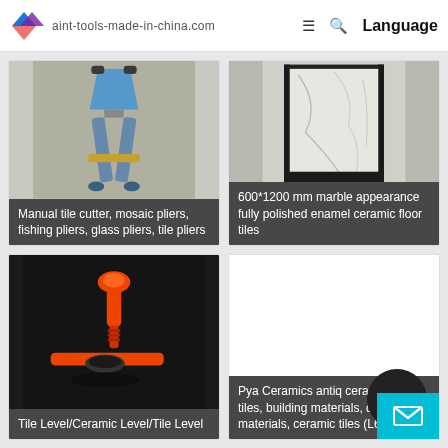aint-tools-made-in-china.com | Language
[Figure (photo): Blue and gray manual tile cutter / mosaic pliers tool with gold bar detail on dark background]
Manual tile cutter, mosaic pliers, fishing pliers, glass pliers, tile pliers
[Figure (photo): 600*1200 mm marble appearance fully polished enamel ceramic floor tile shown vertically against wall in black metal frame]
600*1200 mm marble appearance fully polished enamel ceramic floor tiles
[Figure (photo): Orange plastic tile leveling clip/cap tool (tile level / ceramic level) on dark background]
Tile Level/Ceramic Level/Tile Level
[Figure (photo): White/blank loading product image for Pya Ceramics antiq ceramic floor tiles]
Pya Ceramics antiq ceramic floor tiles, building materials, decoration materials, ceramic tiles (L66037)